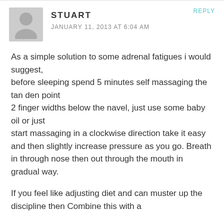STUART — JANUARY 11, 2013 AT 6:04 AM — REPLY
As a simple solution to some adrenal fatigues i would suggest,
before sleeping spend 5 minutes self massaging the tan den point
2 finger widths below the navel, just use some baby oil or just
start massaging in a clockwise direction take it easy
and then slightly increase pressure as you go. Breath in through nose then out through the mouth in gradual way.
If you feel like adjusting diet and can muster up the discipline then Combine this with a